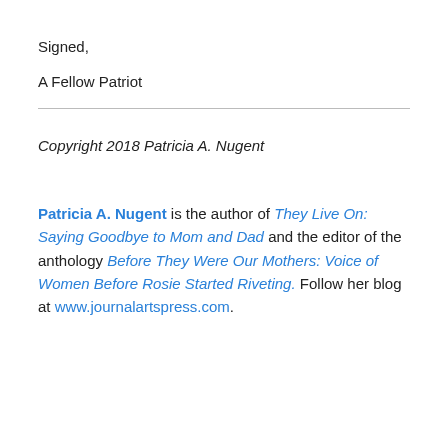Signed,
A Fellow Patriot
Copyright 2018 Patricia A. Nugent
Patricia A. Nugent is the author of They Live On: Saying Goodbye to Mom and Dad and the editor of the anthology Before They Were Our Mothers: Voice of Women Before Rosie Started Riveting. Follow her blog at www.journalartspress.com.